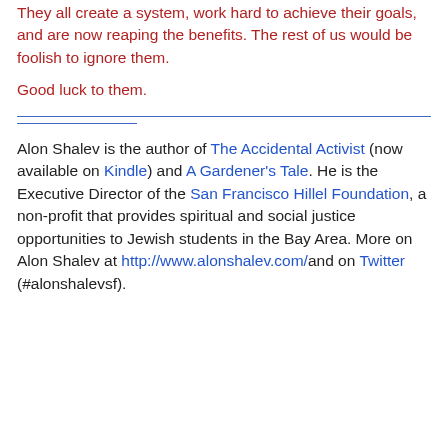They all create a system, work hard to achieve their goals, and are now reaping the benefits. The rest of us would be foolish to ignore them.

Good luck to them.
Alon Shalev is the author of The Accidental Activist (now available on Kindle) and A Gardener's Tale. He is the Executive Director of the San Francisco Hillel Foundation, a non-profit that provides spiritual and social justice opportunities to Jewish students in the Bay Area. More on Alon Shalev at http://www.alonshalev.com/and on Twitter (#alonshalevsf).